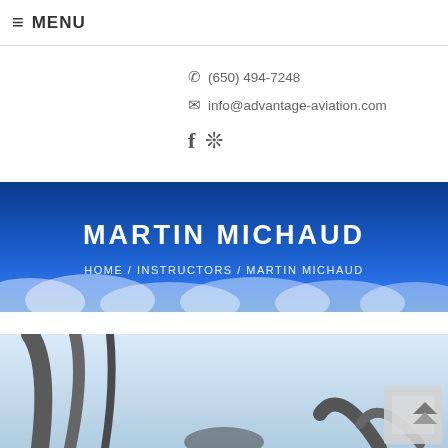≡ MENU
✆ (650) 494-7248
✉ info@advantage-aviation.com
[Figure (other): Social icons: Facebook and Yelp]
MARTIN MICHAUD
HOME / INSTRUCTORS / MARTIN MICHAUD
[Figure (photo): Partial view of aircraft cockpit/instrument panel with sky background]